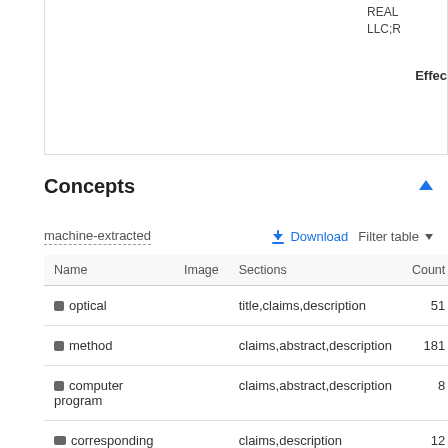REAL LLC;R Effec
Concepts
machine-extracted
Download   Filter table
| Name | Image | Sections | Count |
| --- | --- | --- | --- |
| optical |  | title,claims,description | 51 |
| method |  | claims,abstract,description | 181 |
| computer program |  | claims,abstract,description | 8 |
| corresponding |  | claims,description | 12 |
| biosynthetic process |  | claims,description | 11 |